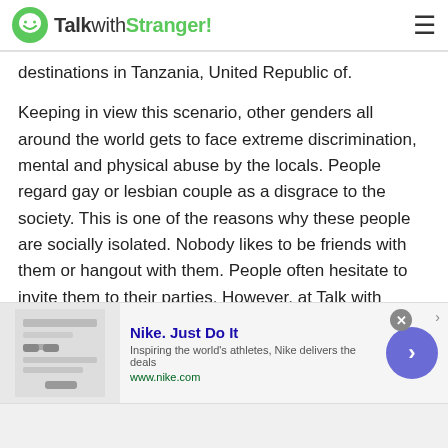TalkwithStranger!
destinations in Tanzania, United Republic of.
Keeping in view this scenario, other genders all around the world gets to face extreme discrimination, mental and physical abuse by the locals. People regard gay or lesbian couple as a disgrace to the society. This is one of the reasons why these people are socially isolated. Nobody likes to be friends with them or hangout with them. People often hesitate to invite them to their parties. However, at Talk with Stranger platform, everyone is treated equally. No one is given priority or less
[Figure (screenshot): Nike advertisement banner: Nike. Just Do It. Inspiring the world's athletes, Nike delivers the deals. www.nike.com]